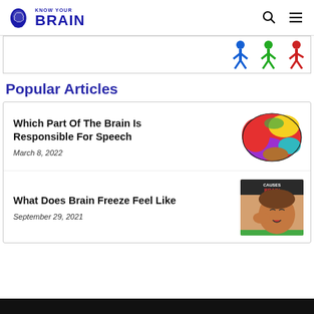Know Your Brain
[Figure (illustration): Colorful human figures banner strip at top right]
Popular Articles
Which Part Of The Brain Is Responsible For Speech
March 8, 2022
[Figure (photo): Colorful illustration of a human brain with different colored lobes]
What Does Brain Freeze Feel Like
September 29, 2021
[Figure (photo): Photo of a person experiencing brain freeze, with text overlay 'Causes Brain Freeze?']